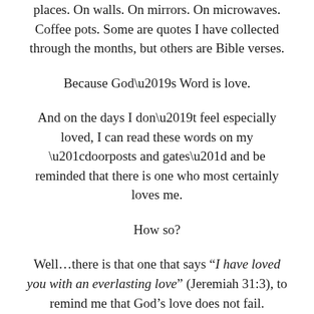places. On walls. On mirrors. On microwaves. Coffee pots. Some are quotes I have collected through the months, but others are Bible verses.
Because God’s Word is love.
And on the days I don’t feel especially loved, I can read these words on my “doorposts and gates” and be reminded that there is one who most certainly loves me.
How so?
Well…there is that one that says “I have loved you with an everlasting love” (Jeremiah 31:3), to remind me that God’s love does not fail.
There is one that states, “You are altogether